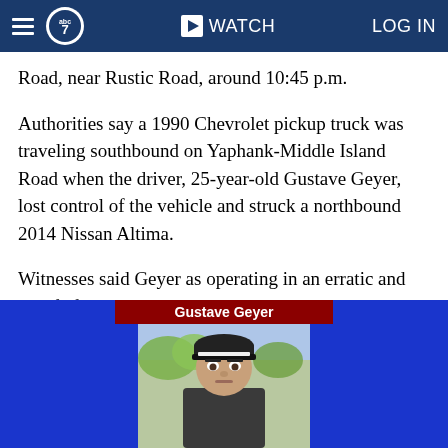abc7 | WATCH | LOG IN
Road, near Rustic Road, around 10:45 p.m.
Authorities say a 1990 Chevrolet pickup truck was traveling southbound on Yaphank-Middle Island Road when the driver, 25-year-old Gustave Geyer, lost control of the vehicle and struck a northbound 2014 Nissan Altima.
Witnesses said Geyer as operating in an erratic and unsafe fashion.
[Figure (photo): News broadcast screenshot showing a mugshot-style photo of Gustave Geyer with a dark cap, against a blue studio background. A red banner with white text reads 'Gustave Geyer'.]